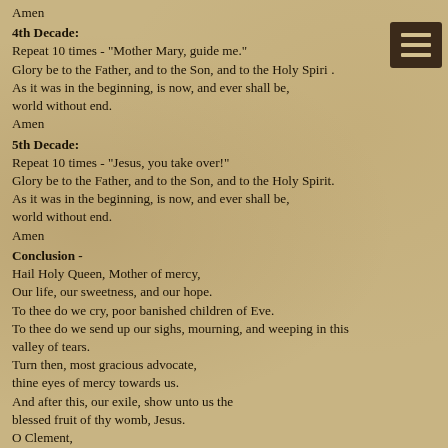Amen
4th Decade:
Repeat 10 times - "Mother Mary, guide me."
Glory be to the Father, and to the Son, and to the Holy Spirit. As it was in the beginning, is now, and ever shall be, world without end.
Amen
5th Decade:
Repeat 10 times - "Jesus, you take over!"
Glory be to the Father, and to the Son, and to the Holy Spirit. As it was in the beginning, is now, and ever shall be, world without end.
Amen
Conclusion -
Hail Holy Queen, Mother of mercy,
Our life, our sweetness, and our hope.
To thee do we cry, poor banished children of Eve.
To thee do we send up our sighs, mourning, and weeping in this valley of tears.
Turn then, most gracious advocate,
thine eyes of mercy towards us.
And after this, our exile, show unto us the
blessed fruit of thy womb, Jesus.
O Clement,
O Loving,
O Sweet Virgin Mary,
Pray for us, O Holy Mother of God